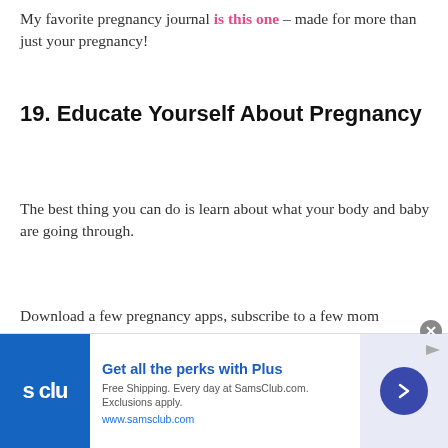My favorite pregnancy journal is this one – made for more than just your pregnancy!
19. Educate Yourself About Pregnancy
The best thing you can do is learn about what your body and baby are going through.
Download a few pregnancy apps, subscribe to a few mom bloggers, talk to your actual doctor and keep learning.
[Figure (infographic): Sam's Club advertisement banner: blue logo with 's clu' text, headline 'Get all the perks with Plus', body text 'Free Shipping. Every day at SamsClub.com. Exclusions apply.', URL 'www.samsclub.com', and a circular arrow button on the right side]